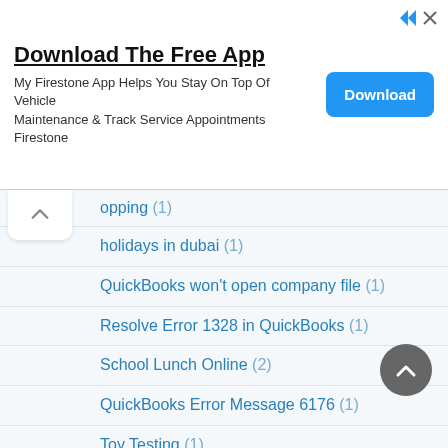[Figure (screenshot): Advertisement banner for My Firestone App with Download button]
opping (1)
holidays in dubai (1)
QuickBooks won't open company file (1)
Resolve Error 1328 in QuickBooks (1)
School Lunch Online (2)
QuickBooks Error Message 6176 (1)
Toy Testing (1)
quickbooks desktop error 1603 (1)
VIDEO (2)
Spirituality Quotes (1)
QuickBooks Banking 106 (1)